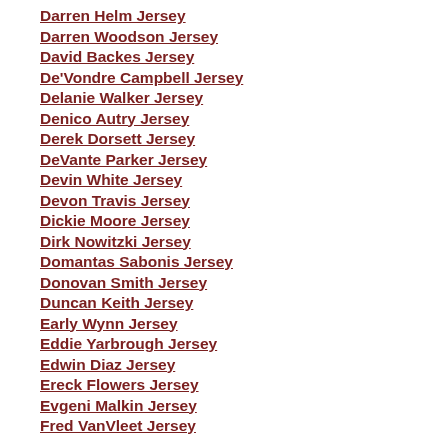Darren Helm Jersey
Darren Woodson Jersey
David Backes Jersey
De'Vondre Campbell Jersey
Delanie Walker Jersey
Denico Autry Jersey
Derek Dorsett Jersey
DeVante Parker Jersey
Devin White Jersey
Devon Travis Jersey
Dickie Moore Jersey
Dirk Nowitzki Jersey
Domantas Sabonis Jersey
Donovan Smith Jersey
Duncan Keith Jersey
Early Wynn Jersey
Eddie Yarbrough Jersey
Edwin Diaz Jersey
Ereck Flowers Jersey
Evgeni Malkin Jersey
Fred VanVleet Jersey